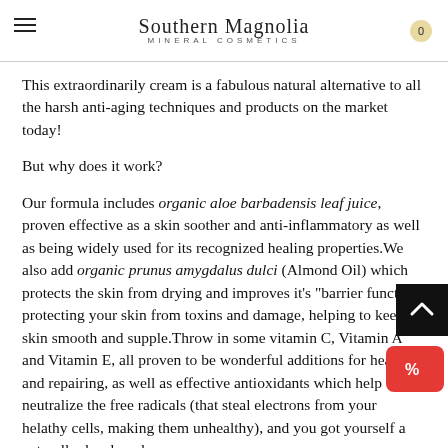Southern Magnolia Mineral Cosmetics
This extraordinarily cream is a fabulous natural alternative to all the harsh anti-aging techniques and products on the market today!
But why does it work?
Our formula includes organic aloe barbadensis leaf juice, proven effective as a skin soother and anti-inflammatory as well as being widely used for its recognized healing properties.We also add organic prunus amygdalus dulci (Almond Oil) which protects the skin from drying and improves it's “barrier function” protecting your skin from toxins and damage, helping to keep skin smooth and supple.Throw in some vitamin C, Vitamin A and Vitamin E, all proven to be wonderful additions for healing and repairing, as well as effective antioxidants which help neutralize the free radicals (that steal electrons from your helathy cells, making them unhealthy), and you got yourself a naturally developed